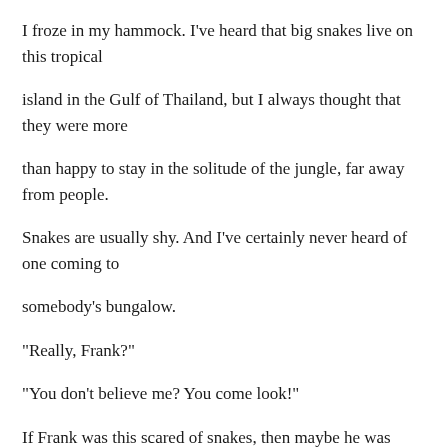I froze in my hammock. I've heard that big snakes live on this tropical
island in the Gulf of Thailand, but I always thought that they were more
than happy to stay in the solitude of the jungle, far away from people.
Snakes are usually shy. And I've certainly never heard of one coming to
somebody's bungalow.
"Really, Frank?"
"You don't believe me? You come look!"
If Frank was this scared of snakes, then maybe he was making it